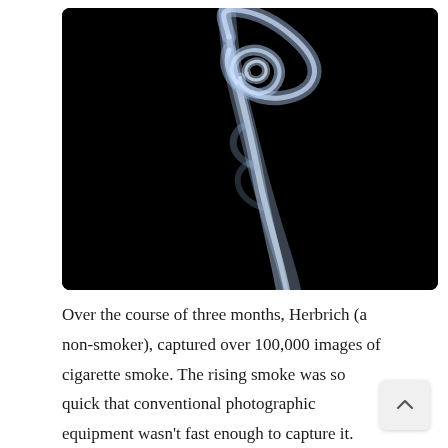[Figure (photo): A close-up photograph of cigarette smoke rising against a pure black background. The smoke forms elegant, swirling blue-white ribbons with intricate curls and loops at the top, creating an artistic abstract image.]
Over the course of three months, Herbrich (a non-smoker), captured over 100,000 images of cigarette smoke. The rising smoke was so quick that conventional photographic equipment wasn't fast enough to capture it. Flash speed of 1/10,000 w used to freeze the intricate dance of the rising smoke and